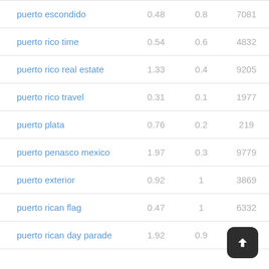| puerto escondido | 0.48 | 0.8 | 7081 |
| puerto rico time | 0.54 | 0.6 | 4832 |
| puerto rico real estate | 1.33 | 0.4 | 9205 |
| puerto rico travel | 0.31 | 0.1 | 1977 |
| puerto plata | 0.76 | 0.2 | 219 |
| puerto penasco mexico | 1.97 | 0.3 | 9779 |
| puerto exterior | 0.92 | 1 | 3869 |
| puerto rican flag | 0.47 | 1 | 6332 |
| puerto rican day parade | 1.92 | 0.9 | 6393 |